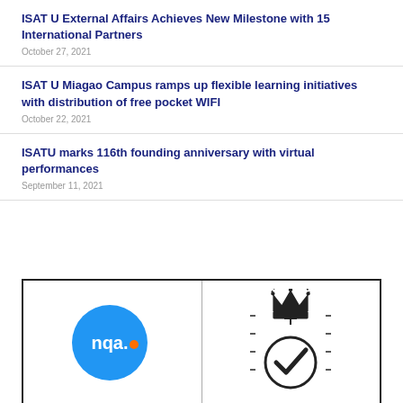ISAT U External Affairs Achieves New Milestone with 15 International Partners
October 27, 2021
ISAT U Miagao Campus ramps up flexible learning initiatives with distribution of free pocket WIFI
October 22, 2021
ISATU marks 116th founding anniversary with virtual performances
September 11, 2021
[Figure (logo): NQA logo (blue circle with white 'nqa.' text and orange dot) alongside a certification mark featuring a crown and checkmark in a circle]